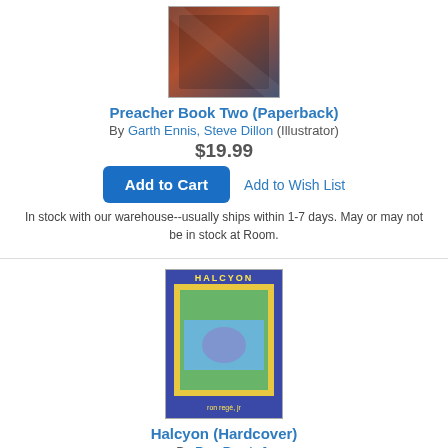[Figure (photo): Book cover of Preacher Book Two (Paperback)]
Preacher Book Two (Paperback)
By Garth Ennis, Steve Dillon (Illustrator)
$19.99
Add to Cart | Add to Wish List
In stock with our warehouse--usually ships within 1-7 days. May or may not be in stock at Room.
[Figure (photo): Book cover of Halcyon (Hardcover) by Ron Regé, Jr — blue cover with yellow border and illustrated scene]
Halcyon (Hardcover)
By Ron Regé, Jr
$24.99